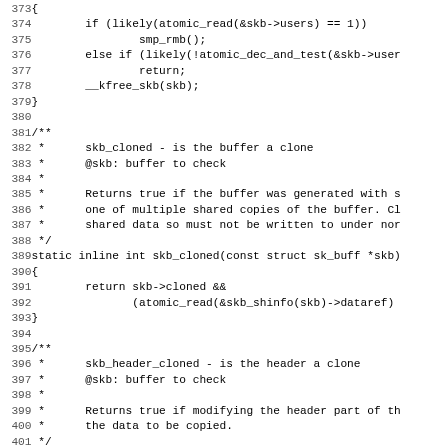Source code listing, lines 373–404, showing C functions kfree_skb, skb_cloned, and skb_header_cloned with inline documentation comments.